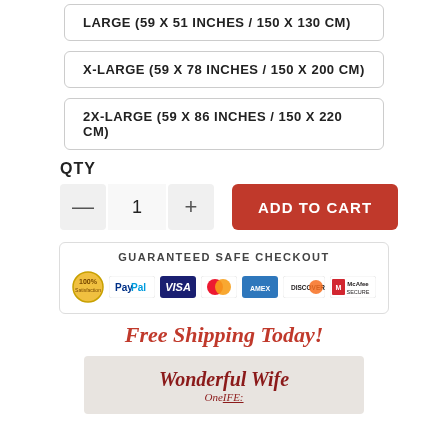LARGE (59 X 51 INCHES / 150 X 130 CM)
X-LARGE (59 X 78 INCHES / 150 X 200 CM)
2X-LARGE (59 X 86 INCHES / 150 X 220 CM)
QTY
1
ADD TO CART
GUARANTEED SAFE CHECKOUT
[Figure (infographic): Guaranteed Safe Checkout badge with PayPal, VISA, MasterCard, American Express, Discover, and McAfee Secure logos]
Free Shipping Today!
[Figure (photo): Decorative image with cursive text reading 'Wonderful Wife' in red on a light background]